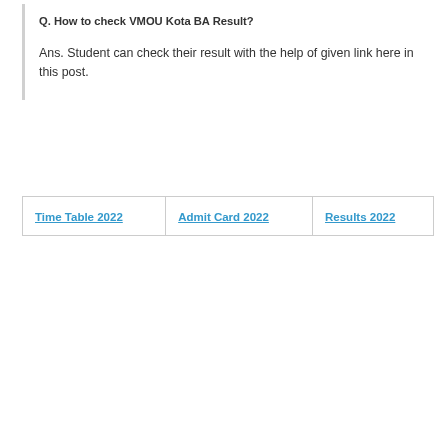Q. How to check VMOU Kota BA Result?
Ans. Student can check their result with the help of given link here in this post.
| Time Table 2022 | Admit Card 2022 | Results 2022 |
| --- | --- | --- |